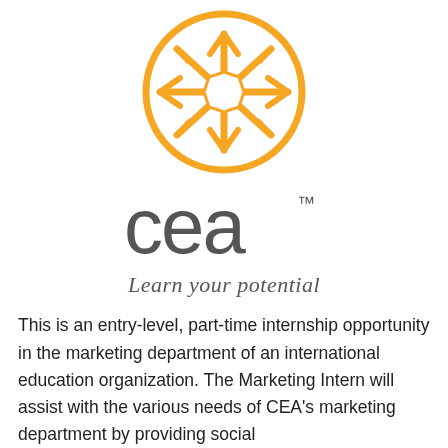[Figure (logo): CEA logo with orange circular snowflake/gift box icon above the text 'cea' with trademark symbol, and tagline 'Learn your potential']
This is an entry-level, part-time internship opportunity in the marketing department of an international education organization. The Marketing Intern will assist with the various needs of CEA's marketing department by providing social